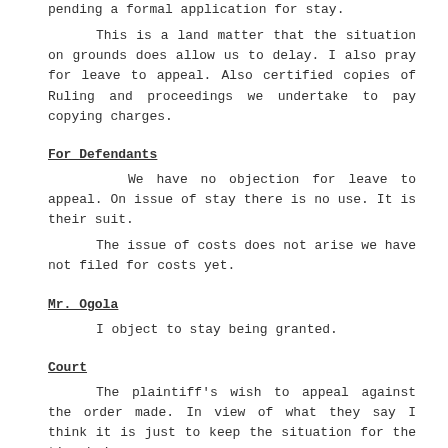pending a formal application for stay.
This is a land matter that the situation on grounds does allow us to delay. I also pray for leave to appeal. Also certified copies of Ruling and proceedings we undertake to pay copying charges.
For Defendants
We have no objection for leave to appeal. On issue of stay there is no use. It is their suit.
The issue of costs does not arise we have not filed for costs yet.
Mr. Ogola
I object to stay being granted.
Court
The plaintiff's wish to appeal against the order made. In view of what they say I think it is just to keep the situation for the time being